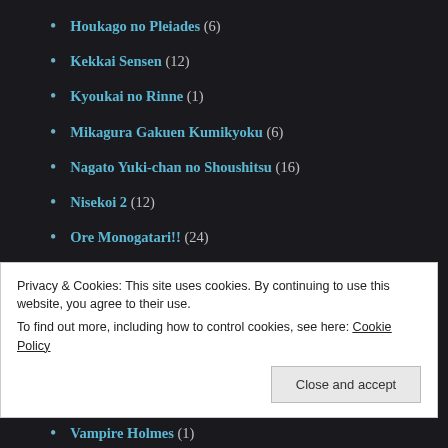Houkago no Pleiades (6)
Kekkai Sensen (12)
Kyoukai no Rinne (1)
Mikagura Gakuen Kumikyoku (6)
Nagato Yuki-chan no Shoushitsu (16)
Nisekoi 2 (12)
Ore Monogatari!! (24)
Oregairu 2 (14)
Owari no Seraph (12)
Plastic Memories (3)
Punchline (4)
Privacy & Cookies: This site uses cookies. By continuing to use this website, you agree to their use.
To find out more, including how to control cookies, see here: Cookie Policy
Vampire Holmes (1)